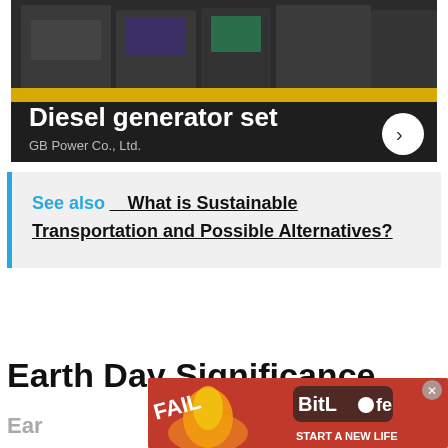[Figure (photo): Advertisement banner showing industrial diesel generators with yellow rail in a dark warehouse setting. Text overlay reads 'Diesel generator set' and 'GB Power Co., Ltd.' with a white circular arrow button on the right.]
See also   What is Sustainable Transportation and Possible Alternatives?
Earth Day Significance
Ear
[Figure (photo): Advertisement banner for BitLife game showing cartoon character with fire, text 'FAIL START A NEW LIFE' with BitLife logo and close button.]